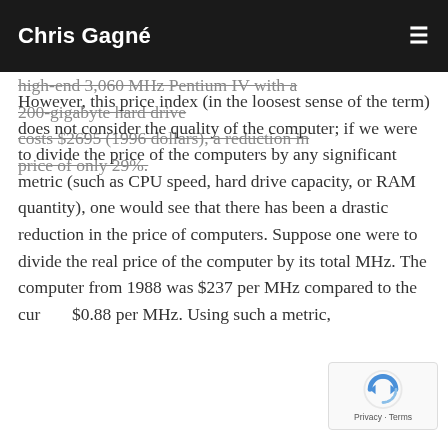Chris Gagné
high-end 3,060 MHz Pentium IV with a 200-gigabyte hard drive costs $2695 (1996 dollars), a reduction in price of only 29%.
However, this price index (in the loosest sense of the term) does not consider the quality of the computer; if we were to divide the price of the computers by any significant metric (such as CPU speed, hard drive capacity, or RAM quantity), one would see that there has been a drastic reduction in the price of computers. Suppose one were to divide the real price of the computer by its total MHz. The computer from 1988 was $237 per MHz compared to the current $0.88 per MHz. Using such a metric,